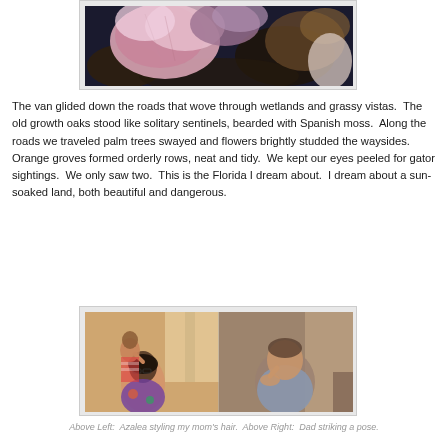[Figure (photo): Close-up photo of pink/purple flower petals and organic material on a dark surface]
The van glided down the roads that wove through wetlands and grassy vistas.  The old growth oaks stood like solitary sentinels, bearded with Spanish moss.  Along the roads we traveled palm trees swayed and flowers brightly studded the waysides.  Orange groves formed orderly rows, neat and tidy.  We kept our eyes peeled for gator sightings.  We only saw two.  This is the Florida I dream about.  I dream about a sun-soaked land, both beautiful and dangerous.
[Figure (photo): Two photos side by side: Left shows a young girl styling an older woman's hair in a warmly lit room; Right shows a man sitting and posing thoughtfully]
Above Left:  Azalea styling my mom's hair.  Above Right:  Dad striking a pose.